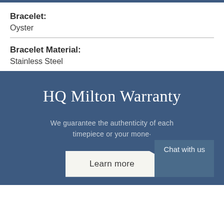Bracelet: Oyster
Bracelet Material: Stainless Steel
HQ Milton Warranty
We guarantee the authenticity of each timepiece or your mone·
Chat with us
Learn more